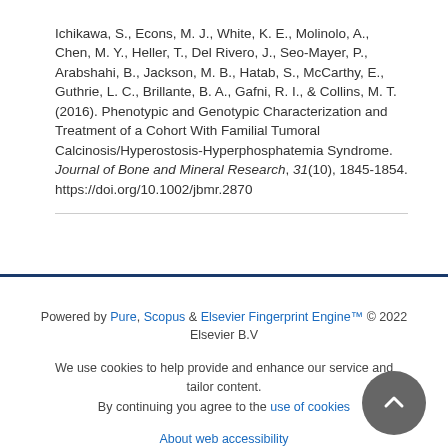Ichikawa, S., Econs, M. J., White, K. E., Molinolo, A., Chen, M. Y., Heller, T., Del Rivero, J., Seo-Mayer, P., Arabshahi, B., Jackson, M. B., Hatab, S., McCarthy, E., Guthrie, L. C., Brillante, B. A., Gafni, R. I., & Collins, M. T. (2016). Phenotypic and Genotypic Characterization and Treatment of a Cohort With Familial Tumoral Calcinosis/Hyperostosis-Hyperphosphatemia Syndrome. Journal of Bone and Mineral Research, 31(10), 1845-1854. https://doi.org/10.1002/jbmr.2870
Powered by Pure, Scopus & Elsevier Fingerprint Engine™ © 2022 Elsevier B.V
We use cookies to help provide and enhance our service and tailor content. By continuing you agree to the use of cookies
About web accessibility